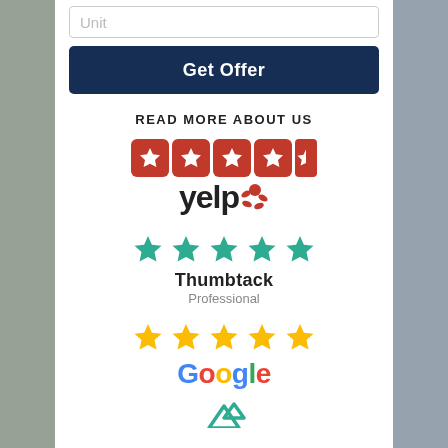Unit
Get Offer
READ MORE ABOUT US
[Figure (logo): Yelp logo with 4.5 red star rating boxes and yelp wordmark with burst icon]
[Figure (logo): Thumbtack logo with 5 green stars and 'Thumbtack Professional' text]
[Figure (logo): Google logo with 5 yellow/gold stars]
[Figure (logo): Partially visible teal/green mountain icon at bottom]